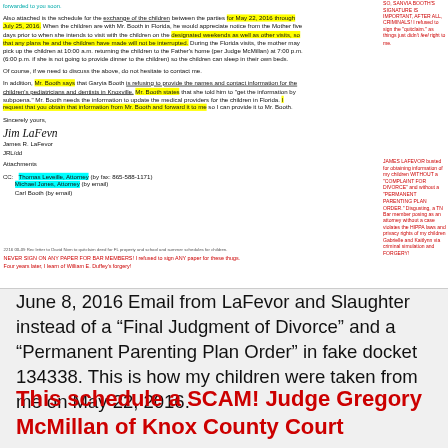[Figure (photo): Scanned letter from James R. LaFevor with handwritten annotations in red and yellow highlighting, showing correspondence about child visitation schedule and medical provider information, with handwritten annotations in red text on the right margin condemning the attorneys involved.]
June 8, 2016 Email from LaFevor and Slaughter instead of a “Final Judgment of Divorce” and a “Permanent Parenting Plan Order” in fake docket 134338. This is how my children were taken from me on May 22, 2016.
This schedule a SCAM! Judge Gregory McMillan of Knox County Court